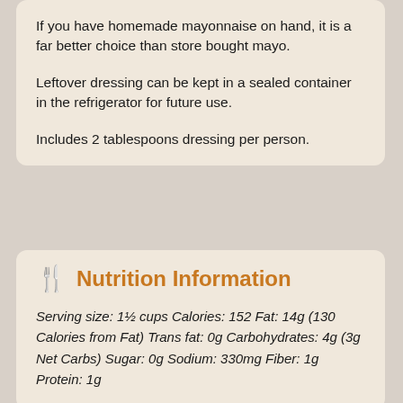If you have homemade mayonnaise on hand, it is a far better choice than store bought mayo.
Leftover dressing can be kept in a sealed container in the refrigerator for future use.
Includes 2 tablespoons dressing per person.
Nutrition Information
Serving size: 1½ cups Calories: 152 Fat: 14g (130 Calories from Fat) Trans fat: 0g Carbohydrates: 4g (3g Net Carbs) Sugar: 0g Sodium: 330mg Fiber: 1g Protein: 1g